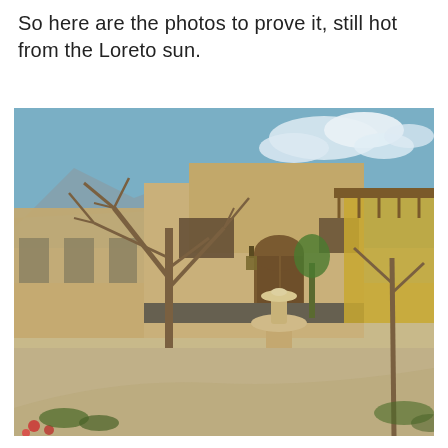So here are the photos to prove it, still hot from the Loreto sun.
[Figure (photo): Outdoor courtyard of a Spanish colonial-style building complex in Loreto, Mexico. A tiered stone fountain sits in the center of a wide paved plaza. Bare deciduous trees frame the foreground. Adobe/stucco buildings with flat roofs and an arched doorway are visible in the background. A wooden pergola extends from the right side of the main building. Blue sky with white clouds is visible above.]